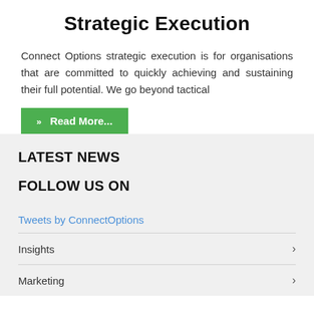Strategic Execution
Connect Options strategic execution is for organisations that are committed to quickly achieving and sustaining their full potential. We go beyond tactical
» Read More...
LATEST NEWS
FOLLOW US ON
Tweets by ConnectOptions
Insights
Marketing